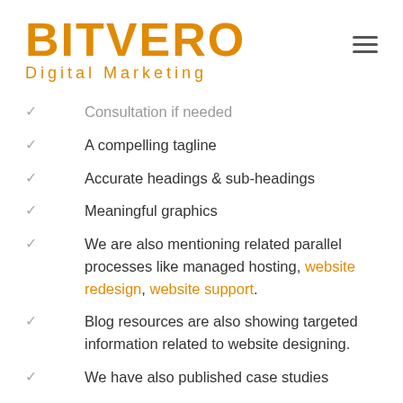BITVERO Digital Marketing
Consultation if needed
A compelling tagline
Accurate headings & sub-headings
Meaningful graphics
We are also mentioning related parallel processes like managed hosting, website redesign, website support.
Blog resources are also showing targeted information related to website designing.
We have also published case studies